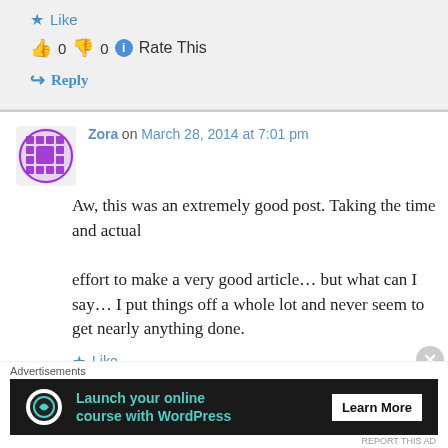★ Like
👍 0 👎 0 ℹ Rate This
↪ Reply
Zora on March 28, 2014 at 7:01 pm
Aw, this was an extremely good post. Taking the time and actual effort to make a very good article… but what can I say… I put things off a whole lot and never seem to get nearly anything done.
★ Like
Advertisements
[Figure (screenshot): Advertisement banner: Launch your online course with WordPress - Learn More]